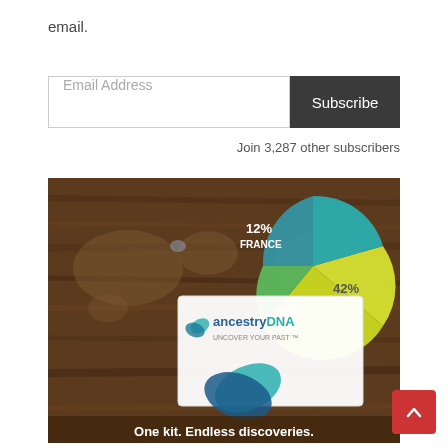email.
Email Address
Subscribe
Join 3,287 other subscribers
[Figure (infographic): AncestryDNA advertisement showing a pie chart with segments labeled 12% France, 13%, and 42% on a wooden table background with the AncestryDNA kit box. Text reads: One kit. Endless discoveries.]